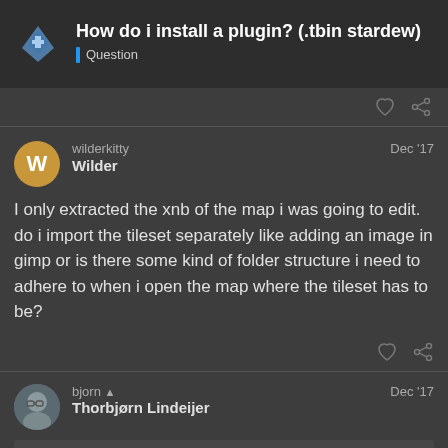How do i install a plugin? (.tbin stardew) | Question
wilderkitty
Wilder
Dec '17
I only extracted the xnb of the map i was going to edit. do i import the tileset separately like adding an image in gimp or is there some kind of folder structure i need to adhere to when i open the map where the tileset has to be?
bjorn
Thorbjørn Lindeijer
Dec '17
wilderkitty:
I only extracted the xnb of the map i wa
3 / 6